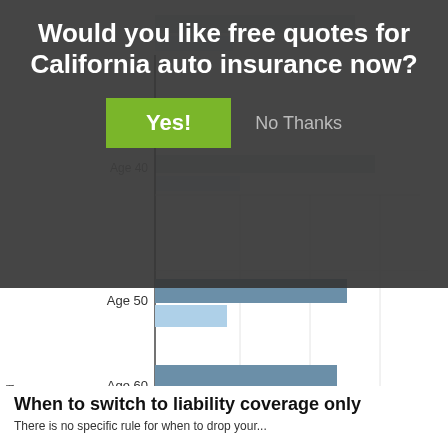Would you like free quotes for California auto insurance now?
[Figure (grouped-bar-chart): Annual Auto Insurance Premium for MDX with Tech Package Model]
When to switch to liability coverage only
There is no specific rule for when to drop your...